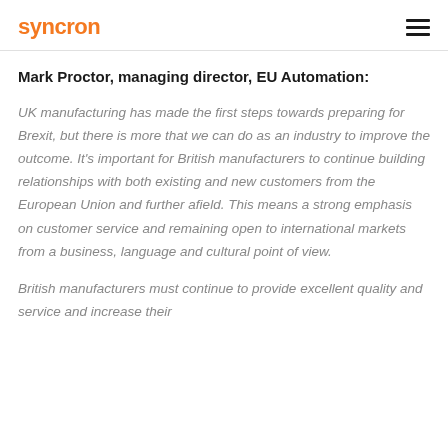syncron
Mark Proctor, managing director, EU Automation:
UK manufacturing has made the first steps towards preparing for Brexit, but there is more that we can do as an industry to improve the outcome. It's important for British manufacturers to continue building relationships with both existing and new customers from the European Union and further afield. This means a strong emphasis on customer service and remaining open to international markets from a business, language and cultural point of view.
British manufacturers must continue to provide excellent quality and service and increase their